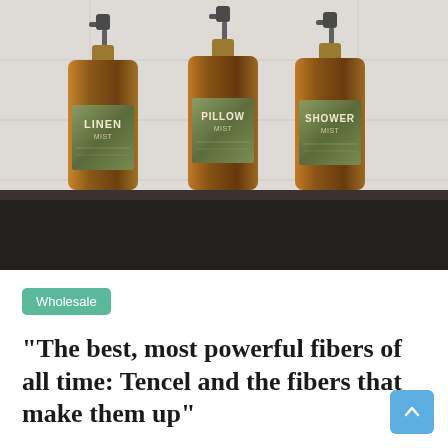[Figure (photo): Three amber glass spray bottles with olive green labels reading LINEN MIST, PILLOW MIST, and SHOWER MIST, arranged on a dark surface against a light grey tile background.]
Wholesale
“The best, most powerful fibers of all time: Tencel and the fibers that make them up”